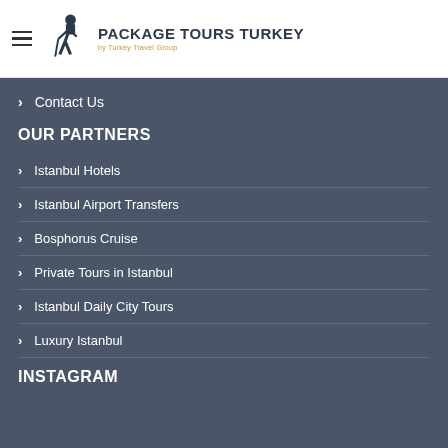[Figure (logo): Package Tours Turkey logo with hiker icon and text 'PACKAGE TOURS TURKEY by Turkey Travel Group']
Contact Us
OUR PARTNERS
Istanbul Hotels
Istanbul Airport Transfers
Bosphorus Cruise
Private Tours in Istanbul
Istanbul Daily City Tours
Luxury Istanbul
INSTAGRAM